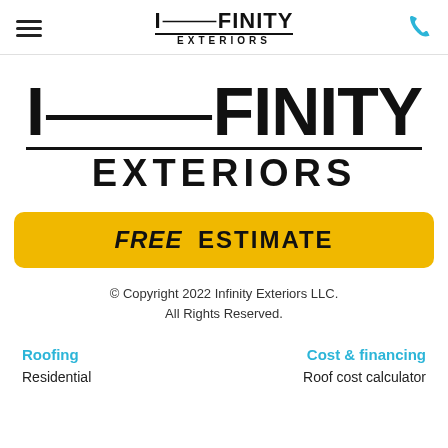INFINITY EXTERIORS (header navigation bar with hamburger menu and phone icon)
[Figure (logo): Infinity Exteriors large logo with INFINITY in bold black serif font underlined, and EXTERIORS in wide-spaced bold black letters below]
FREE ESTIMATE (call-to-action button with yellow background)
© Copyright 2022 Infinity Exteriors LLC.
All Rights Reserved.
Roofing
Residential
Cost & financing
Roof cost calculator